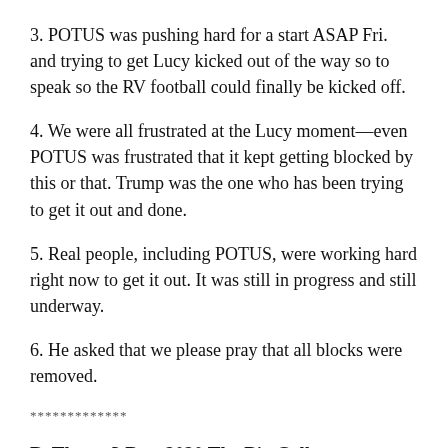3. POTUS was pushing hard for a start ASAP Fri. and trying to get Lucy kicked out of the way so to speak so the RV football could finally be kicked off.
4. We were all frustrated at the Lucy moment—even POTUS was frustrated that it kept getting blocked by this or that. Trump was the one who has been trying to get it out and done.
5. Real people, including POTUS, were working hard right now to get it out. It was still in progress and still underway.
6. He asked that we please pray that all blocks were removed.
*************
B. Thurs. 3 Dec. 2020 The Big Call,